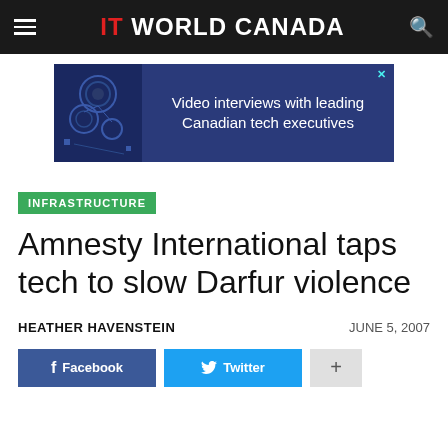IT WORLD CANADA
[Figure (screenshot): Advertisement banner: blue background with abstract tech imagery on left side and text 'Video interviews with leading Canadian tech executives' on a dark blue background, with a close button (X) in top right corner.]
INFRASTRUCTURE
Amnesty International taps tech to slow Darfur violence
HEATHER HAVENSTEIN   JUNE 5, 2007
Facebook   Twitter   +